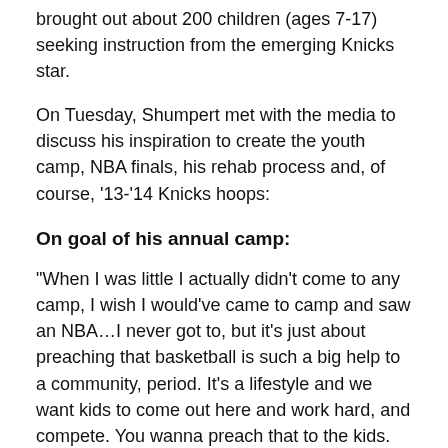brought out about 200 children (ages 7-17) seeking instruction from the emerging Knicks star.
On Tuesday, Shumpert met with the media to discuss his inspiration to create the youth camp, NBA finals, his rehab process and, of course, ‘13-’14 Knicks hoops:
On goal of his annual camp:
“When I was little I actually didn’t come to any camp, I wish I would’ve came to camp and saw an NBA…I never got to, but it’s just about preaching that basketball is such a big help to a community, period. It’s a lifestyle and we want kids to come out here and work hard, and compete. You wanna preach that to the kids. Stay in school and keep on playing basketball because you could get to where us NBA players are at. A lot of people saw me working and playing basketball everyday and their like ‘it